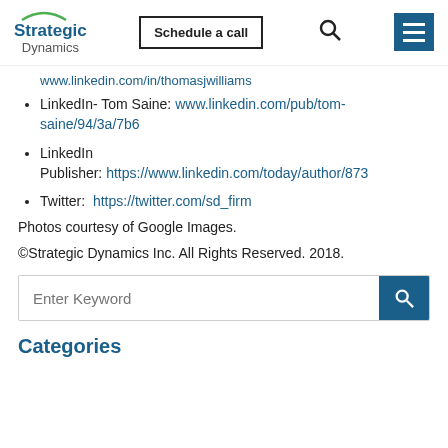Strategic Dynamics | Schedule a call
www.linkedin.com/in/thomasjwilliams
LinkedIn- Tom Saine: www.linkedin.com/pub/tom-saine/94/3a/7b6
LinkedIn Publisher: https://www.linkedin.com/today/author/873
Twitter: https://twitter.com/sd_firm
Photos courtesy of Google Images.
©Strategic Dynamics Inc. All Rights Reserved. 2018.
Enter Keyword
Categories